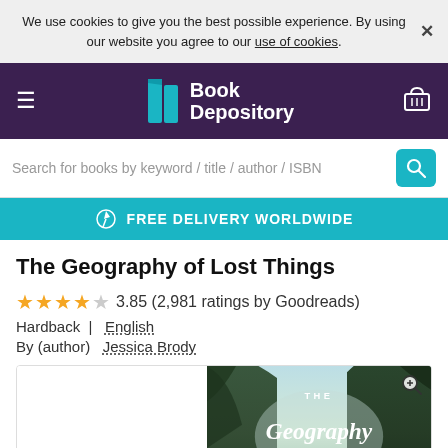We use cookies to give you the best possible experience. By using our website you agree to our use of cookies.
[Figure (screenshot): Book Depository website navbar with logo, hamburger menu, and basket icon on dark purple background]
Search for books by keyword / title / author / ISBN
FREE DELIVERY WORLDWIDE
The Geography of Lost Things
3.85 (2,981 ratings by Goodreads)
Hardback  |   English
By (author)  Jessica Brody
[Figure (photo): Book cover of The Geography of Lost Things by Jessica Brody, showing trees and sky with stylized script text]